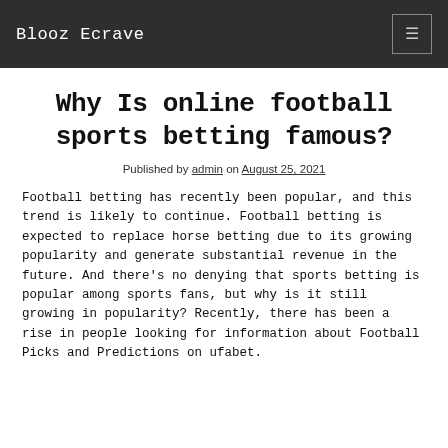Blooz Ecrave
Why Is online football sports betting famous?
Published by admin on August 25, 2021
Football betting has recently been popular, and this trend is likely to continue. Football betting is expected to replace horse betting due to its growing popularity and generate substantial revenue in the future. And there's no denying that sports betting is popular among sports fans, but why is it still growing in popularity? Recently, there has been a rise in people looking for information about Football Picks and Predictions on ufabet.